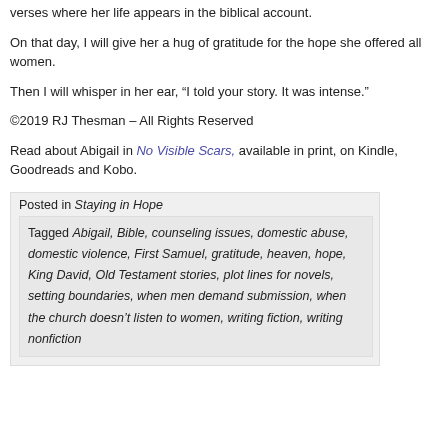verses where her life appears in the biblical account.
On that day, I will give her a hug of gratitude for the hope she offered all women.
Then I will whisper in her ear, “I told your story. It was intense.”
©2019 RJ Thesman – All Rights Reserved
Read about Abigail in No Visible Scars, available in print, on Kindle, Goodreads and Kobo.
Posted in Staying in Hope
Tagged Abigail, Bible, counseling issues, domestic abuse, domestic violence, First Samuel, gratitude, heaven, hope, King David, Old Testament stories, plot lines for novels, setting boundaries, when men demand submission, when the church doesn’t listen to women, writing fiction, writing nonfiction